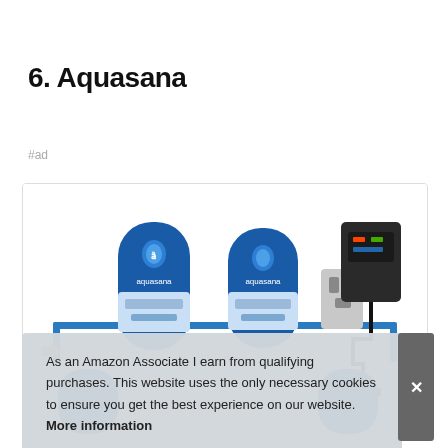6. Aquasana
#ad
[Figure (photo): Aquasana whole house water filter system with two blue filter canisters labeled 'aquasana', connected by blue pipes, with a UV filter unit and electronic controller plugged into a wall outlet]
As an Amazon Associate I earn from qualifying purchases. This website uses the only necessary cookies to ensure you get the best experience on our website. More information